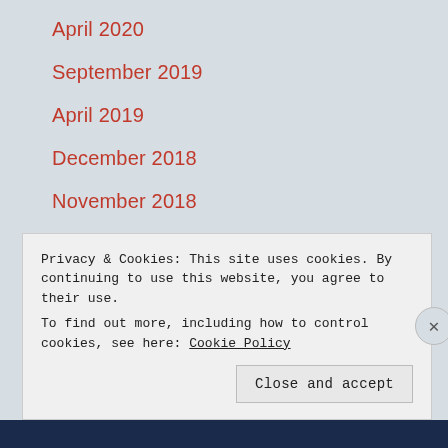April 2020
September 2019
April 2019
December 2018
November 2018
October 2018
September 2018
July 2018
Privacy & Cookies: This site uses cookies. By continuing to use this website, you agree to their use. To find out more, including how to control cookies, see here: Cookie Policy
Close and accept